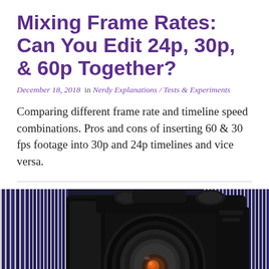Mixing Frame Rates: Can You Edit 24p, 30p, & 60p Together?
December 18, 2018  in  Nerdy Explanations / Tests & Experiments
Comparing different frame rate and timeline speed combinations. Pros and cons of inserting 60 & 30 fps footage into 30p and 24p timelines and vice versa.
[Figure (photo): Close-up photo of a Nikon DSLR camera body with lens removed, showing the lens mount. Background has vertical blue and white stripe pattern.]